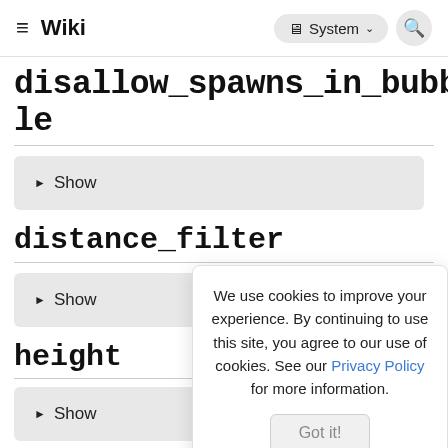Wiki | System
disallow_spawns_in_bubble
▶ Show
distance_filter
▶ Show
height
▶ Show
We use cookies to improve your experience. By continuing to use this site, you agree to our use of cookies. See our Privacy Policy for more information. Got it!